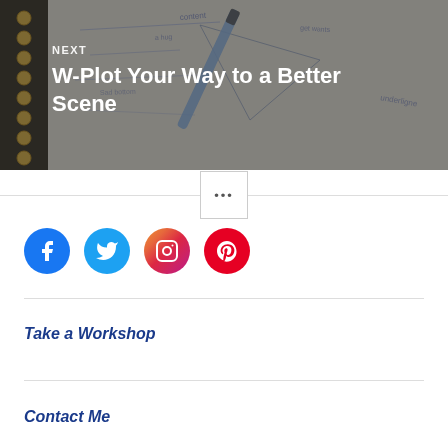[Figure (photo): Notebook with handwritten notes and a blue pen on top, serving as a background image for a blog post navigation block labeled NEXT with title W-Plot Your Way to a Better Scene]
NEXT
W-Plot Your Way to a Better Scene
...
[Figure (illustration): Social media icons: Facebook (blue circle), Twitter (blue circle), Instagram (gradient circle), Pinterest (red circle)]
Take a Workshop
Contact Me